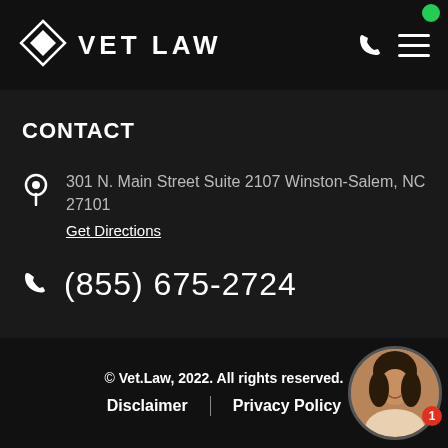[Figure (logo): VetLaw logo with diamond shape icon and VET LAW text in white on dark header, plus phone and menu icons on the right]
CONTACT
301 N. Main Street Suite 2107 Winston-Salem, NC 27101
Get Directions
(855) 675-2724
© Vet.Law, 2022. All rights reserved. Disclaimer | Privacy Policy